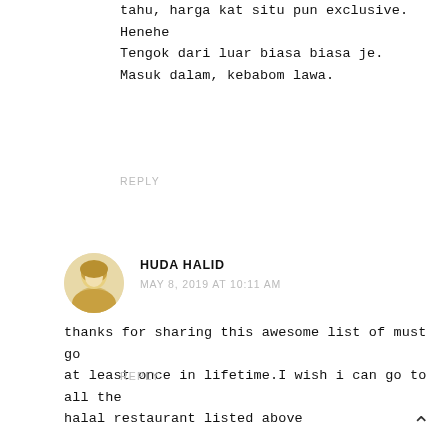tahu, harga kat situ pun exclusive. Henehe
Tengok dari luar biasa biasa je.
Masuk dalam, kebabom lawa.
REPLY
[Figure (photo): Round avatar photo of a woman wearing a yellow hijab]
HUDA HALID
MAY 8, 2019 AT 10:11 AM
thanks for sharing this awesome list of must go at least once in lifetime.I wish i can go to all the halal restaurant listed above
REPLY